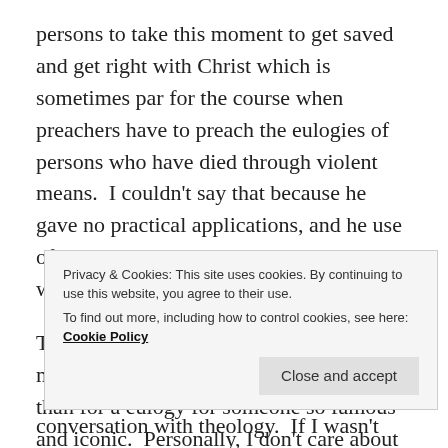persons to take this moment to get saved and get right with Christ which is sometimes par for the course when preachers have to preach the eulogies of persons who have died through violent means.  I couldn't say that because he gave no practical applications, and he use of ecclesiastical language meant that he was only talking to church people.
The sermon Marvin Winans preached was more fitting for a Sunday morning service than for a eulogy for someone so famous and iconic.  Personally, I don't care about an altar call, or really
Privacy & Cookies: This site uses cookies. By continuing to use this website, you agree to their use.
To find out more, including how to control cookies, see here: Cookie Policy
conversation with theology.  If I wasn't already self-